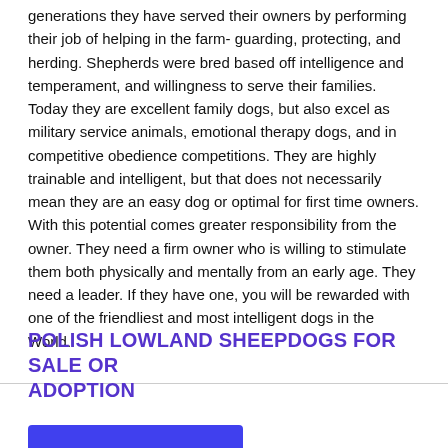generations they have served their owners by performing their job of helping in the farm- guarding, protecting, and herding. Shepherds were bred based off intelligence and temperament, and willingness to serve their families. Today they are excellent family dogs, but also excel as military service animals, emotional therapy dogs, and in competitive obedience competitions. They are highly trainable and intelligent, but that does not necessarily mean they are an easy dog or optimal for first time owners. With this potential comes greater responsibility from the owner. They need a firm owner who is willing to stimulate them both physically and mentally from an early age. They need a leader. If they have one, you will be rewarded with one of the friendliest and most intelligent dogs in the World.
POLISH LOWLAND SHEEPDOGS FOR SALE OR ADOPTION
[Figure (other): Blue button/call-to-action element, partially visible at bottom of page]